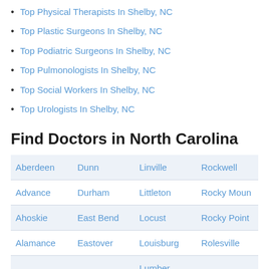Top Physical Therapists In Shelby, NC
Top Plastic Surgeons In Shelby, NC
Top Podiatric Surgeons In Shelby, NC
Top Pulmonologists In Shelby, NC
Top Social Workers In Shelby, NC
Top Urologists In Shelby, NC
Find Doctors in North Carolina
| Col1 | Col2 | Col3 | Col4 |
| --- | --- | --- | --- |
| Aberdeen | Dunn | Linville | Rockwell |
| Advance | Durham | Littleton | Rocky Moun |
| Ahoskie | East Bend | Locust | Rocky Point |
| Alamance | Eastover | Louisburg | Rolesville |
| Albemarle | Eden | Lumber Bridge | Ronda |
| Andrews | Edenton | Lumberton | Rose Hill |